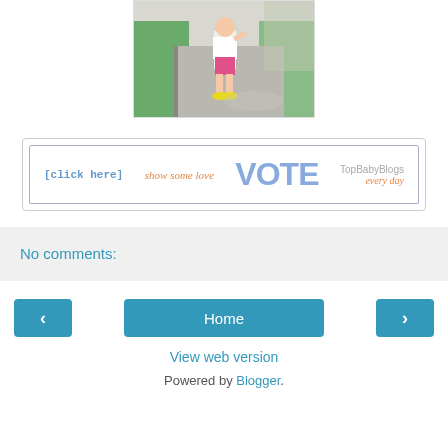[Figure (photo): A small toddler child standing on a sidewalk/path outdoors, wearing a white shirt, pink shorts, and yellow shoes/crocs. Grass and trees visible in background.]
[Figure (infographic): TopBabyBlogs voting banner with text '[click here] show some love VOTE TopBabyBlogs every day']
No comments:
Home
View web version
Powered by Blogger.